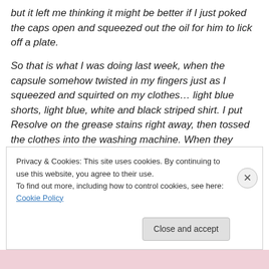but it left me thinking it might be better if I just poked the caps open and squeezed out the oil for him to lick off a plate.
So that is what I was doing last week, when the capsule somehow twisted in my fingers just as I squeezed and squirted on my clothes… light blue shorts, light blue, white and black striped shirt. I put Resolve on the grease stains right away, then tossed the clothes into the washing machine. When they came out the stain were still there – just round dark spots on the fabric, the typical grease
Privacy & Cookies: This site uses cookies. By continuing to use this website, you agree to their use.
To find out more, including how to control cookies, see here: Cookie Policy
Close and accept